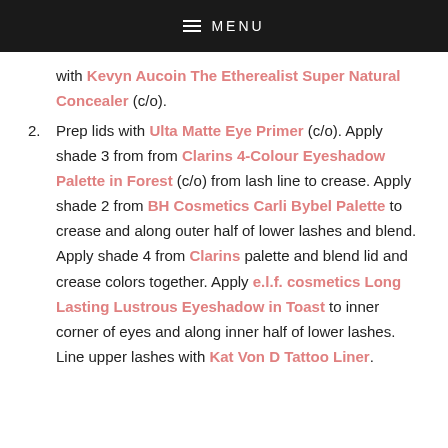MENU
with Kevyn Aucoin The Etherealist Super Natural Concealer (c/o).
2. Prep lids with Ulta Matte Eye Primer (c/o). Apply shade 3 from from Clarins 4-Colour Eyeshadow Palette in Forest (c/o) from lash line to crease. Apply shade 2 from BH Cosmetics Carli Bybel Palette to crease and along outer half of lower lashes and blend. Apply shade 4 from Clarins palette and blend lid and crease colors together. Apply e.l.f. cosmetics Long Lasting Lustrous Eyeshadow in Toast to inner corner of eyes and along inner half of lower lashes. Line upper lashes with Kat Von D Tattoo Liner.